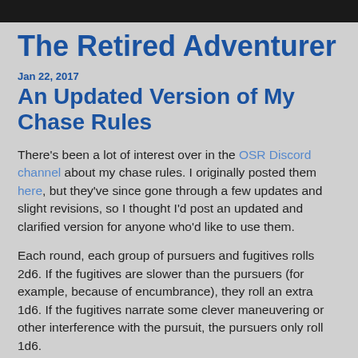The Retired Adventurer
Jan 22, 2017
An Updated Version of My Chase Rules
There's been a lot of interest over in the OSR Discord channel about my chase rules. I originally posted them here, but they've since gone through a few updates and slight revisions, so I thought I'd post an updated and clarified version for anyone who'd like to use them.
Each round, each group of pursuers and fugitives rolls 2d6. If the fugitives are slower than the pursuers (for example, because of encumbrance), they roll an extra 1d6. If the fugitives narrate some clever maneuvering or other interference with the pursuit, the pursuers only roll 1d6.
If all of the fugitives' dice match one another (i.e. they roll doubles or triples), they escape successfully.